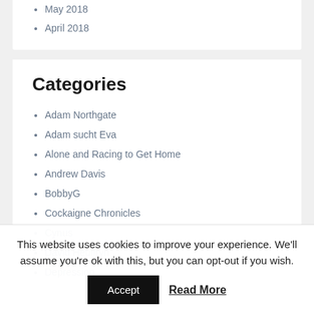May 2018
April 2018
Categories
Adam Northgate
Adam sucht Eva
Alone and Racing to Get Home
Andrew Davis
BobbyG
Cockaigne Chronicles
Cynus
David Heulfryn
Depression
This website uses cookies to improve your experience. We'll assume you're ok with this, but you can opt-out if you wish.
Accept
Read More